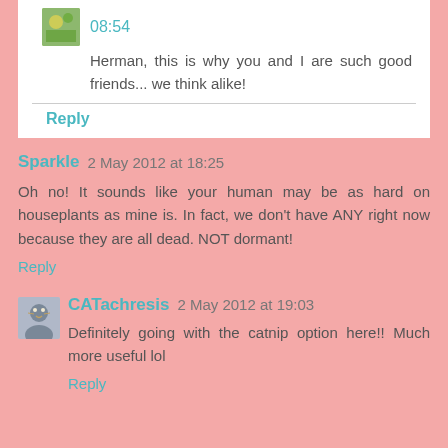08:54
Herman, this is why you and I are such good friends... we think alike!
Reply
Sparkle 2 May 2012 at 18:25
Oh no! It sounds like your human may be as hard on houseplants as mine is. In fact, we don't have ANY right now because they are all dead. NOT dormant!
Reply
CATachresis 2 May 2012 at 19:03
Definitely going with the catnip option here!! Much more useful lol
Reply